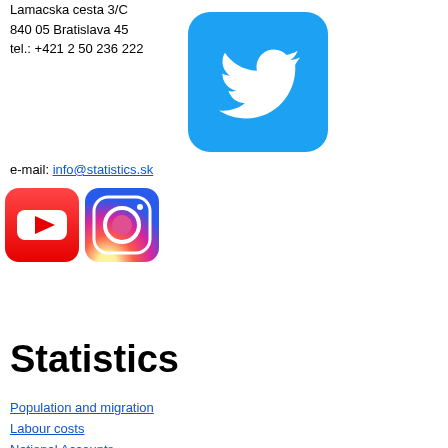Lamacska cesta 3/C
840 05 Bratislava 45
tel.: +421 2 50 236 222
[Figure (logo): Twitter logo — blue rounded square with white bird icon]
e-mail: info@statistics.sk
[Figure (logo): YouTube logo — red rounded square with white play button]
[Figure (logo): Instagram logo — gradient rounded square with camera icon]
Statistics
Population and migration
Labour costs
National Accounts